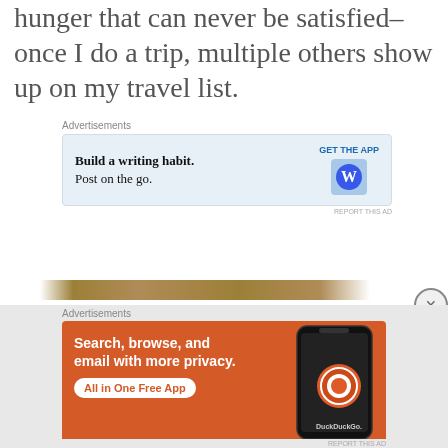hunger that can never be satisfied–once I do a trip, multiple others show up on my travel list.
[Figure (screenshot): WordPress app advertisement: 'Build a writing habit. Post on the go.' with GET THE APP button and WordPress logo on light blue background]
[Figure (photo): Partial photo showing a dark brown decorative comb or similar object on white background]
[Figure (screenshot): DuckDuckGo app advertisement: 'Search, browse, and email with more privacy. All in One Free App' with phone mockup showing DuckDuckGo logo on orange background]